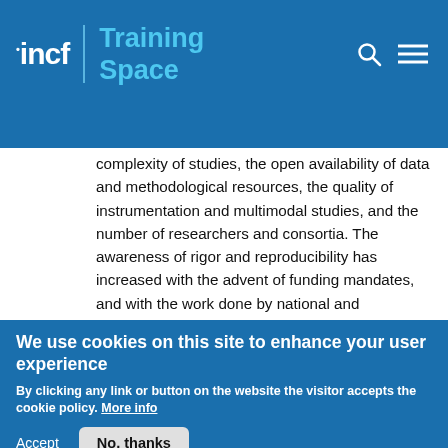INCF | Training Space
complexity of studies, the open availability of data and methodological resources, the quality of instrumentation and multimodal studies, and the number of researchers and consortia. The awareness of rigor and reproducibility has increased with the advent of funding mandates, and with the work done by national and international brain initiatives. This session will focus on the question of FAIRness in neuroimaging research touching on each of the FAIR elements through brief vignettes of ongoing research and challenges faced by the community to enact these
We use cookies on this site to enhance your user experience
By clicking any link or button on the website the visitor accepts the cookie policy. More info
Accept
No, thanks